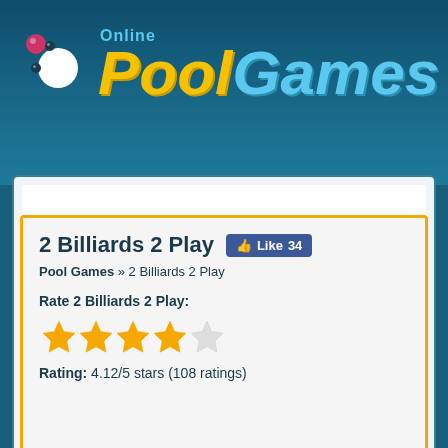[Figure (logo): Online Pool Games logo with billiard balls and stylized text 'Pool' in yellow and 'Games' in blue]
2 Billiards 2 Play
Pool Games » 2 Billiards 2 Play
Rate 2 Billiards 2 Play:
[Figure (other): 4 out of 5 stars rating display]
Rating: 4.12/5 stars (108 ratings)